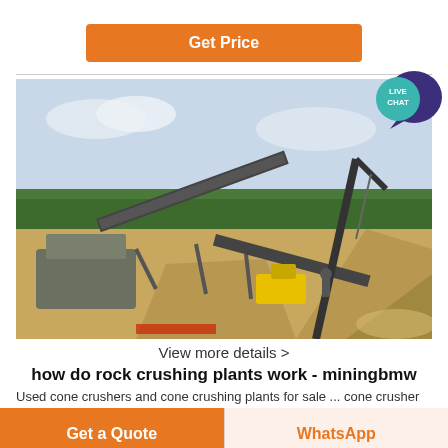Get Price
[Figure (photo): Outdoor rock crushing plant at a mining site with conveyor belts, cranes, machinery, and gravel piles against a forested background]
View more details >
how do rock crushing plants work - miningbmw
Used cone crushers and cone crushing plants for sale ... cone crusher
Get a Quote
WhatsApp